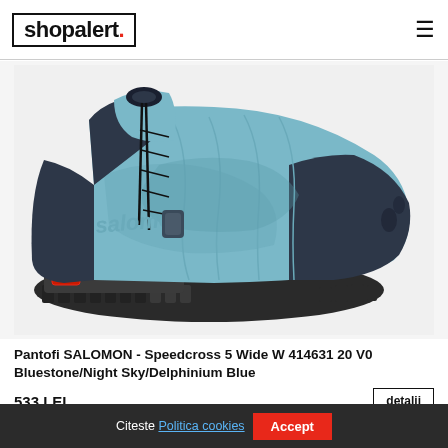shopalert.
[Figure (photo): Salomon Speedcross 5 Wide W trail running shoe in Bluestone/Night Sky/Delphinium Blue colorway, side profile view showing light blue upper, dark grey/black midsole and outsole with aggressive lugs, black lacing system, and black toe cap.]
Pantofi SALOMON - Speedcross 5 Wide W 414631 20 V0 Bluestone/Night Sky/Delphinium Blue
533 LEI
detalii
Citeste Politica cookies  Accept